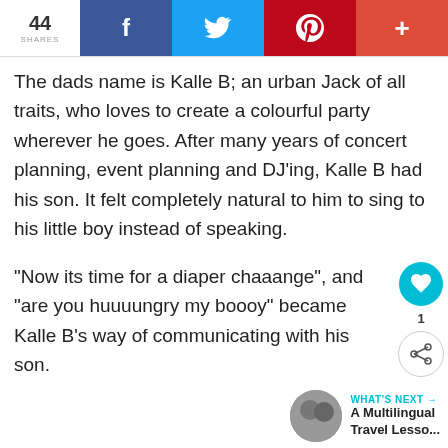44 SHARES | f | t | p | +
The dads name is Kalle B; an urban Jack of all traits, who loves to create a colourful party wherever he goes. After many years of concert planning, event planning and DJ'ing, Kalle B had his son. It felt completely natural to him to sing to his little boy instead of speaking.
“Now its time for a diaper chaaange”, and “are you huuuungry my boooy” became Kalle B’s way of communicating with his son.
WHAT’S NEXT → A Multilingual Travel Lesso...